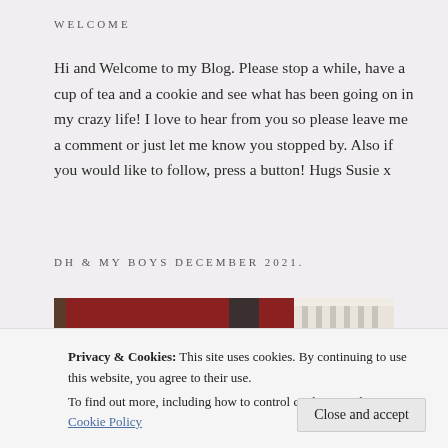WELCOME
Hi and Welcome to my Blog. Please stop a while, have a cup of tea and a cookie and see what has been going on in my crazy life! I love to hear from you so please leave me a comment or just let me know you stopped by. Also if you would like to follow, press a button! Hugs Susie x
DH & MY BOYS DECEMBER 2021.
[Figure (photo): Photograph of DH and boys in a home interior with red walls and white staircase, December 2021]
Privacy & Cookies: This site uses cookies. By continuing to use this website, you agree to their use.
To find out more, including how to control cookies, see here: Our Cookie Policy
Close and accept